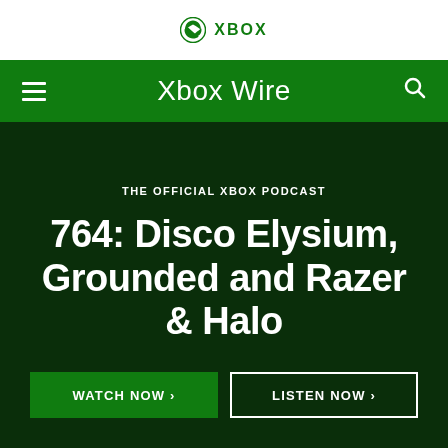XBOX
Xbox Wire
THE OFFICIAL XBOX PODCAST
764: Disco Elysium, Grounded and Razer & Halo
WATCH NOW ›
LISTEN NOW ›